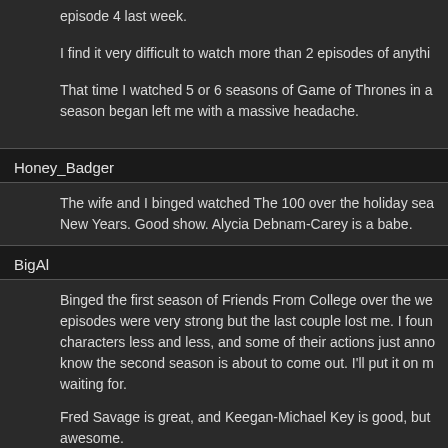episode 4 last week.
I find it very difficult to watch more than 2 episodes of anything
That time I watched 5 or 6 seasons of Game of Thrones in a season began left me with a massive headache.
Honey_Badger
The wife and I binged watched The 100 over the holiday sea New Years. Good show. Alycia Debnam-Carey is a babe.
BigAl
Binged the first season of Friends From College over the we episodes were very strong but the last couple lost me. I foun characters less and less, and some of their actions just ann know the second season is about to come out. I'll put it on m waiting for.
Fred Savage is great, and Keegan-Michael Key is good, but awesome.